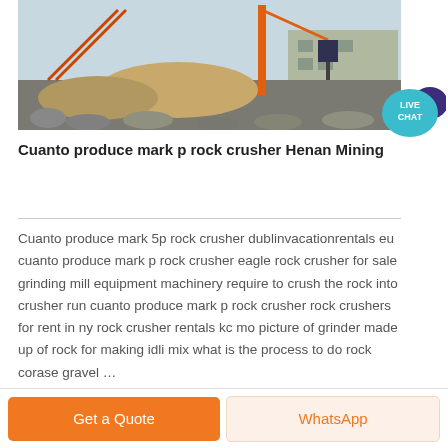[Figure (photo): Industrial rock crushing machinery site with cranes, conveyors, piles of crushed rock and stone, and a factory building in the background.]
Cuanto produce mark p rock crusher Henan Mining
Cuanto produce mark 5p rock crusher dublinvacationrentals eu cuanto produce mark p rock crusher eagle rock crusher for sale grinding mill equipment machinery require to crush the rock into crusher run cuanto produce mark p rock crusher rock crushers for rent in ny rock crusher rentals kc mo picture of grinder made up of rock for making idli mix what is the process to do rock corase gravel …
Get a Quote
WhatsApp